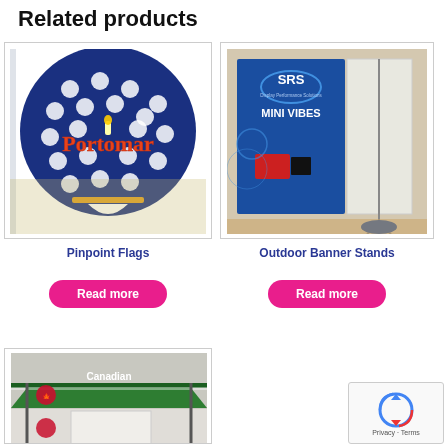Related products
[Figure (photo): Large blue novelty paddle/flag shaped board with Portomar branding and white dot pattern, in a warehouse setting]
Pinpoint Flags
Read more
[Figure (photo): SRS Mini Vibes outdoor banner stand with blue banner in a showroom]
Outdoor Banner Stands
Read more
[Figure (photo): Green Canadian branded canopy/tent outside a building]
[Figure (other): reCAPTCHA widget - Privacy - Terms]